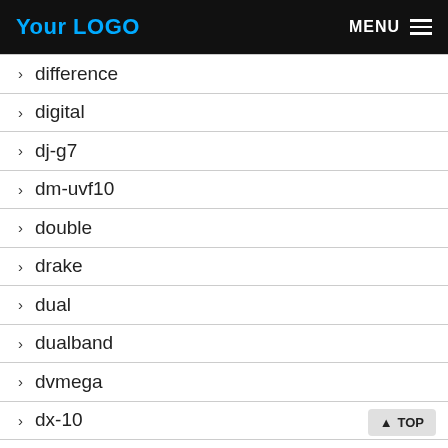Your LOGO  MENU
> difference
> digital
> dj-g7
> dm-uvf10
> double
> drake
> dual
> dualband
> dvmega
> dx-10
> dynascan